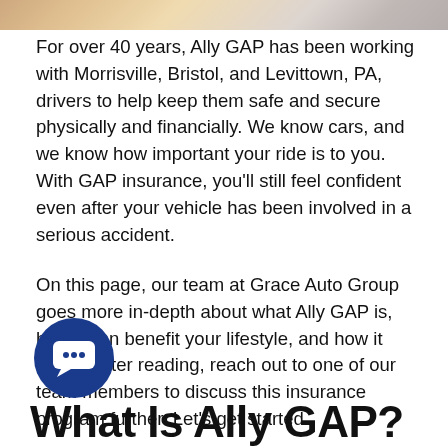[Figure (photo): Partial photo strip at top of page showing a blurred/cropped image of people or car interior in warm tones]
For over 40 years, Ally GAP has been working with Morrisville, Bristol, and Levittown, PA, drivers to help keep them safe and secure physically and financially. We know cars, and we know how important your ride is to you. With GAP insurance, you'll still feel confident even after your vehicle has been involved in a serious accident.
On this page, our team at Grace Auto Group goes more in-depth about what Ally GAP is, how it can benefit your lifestyle, and how it works. After reading, reach out to one of our team members to discuss this insurance program further. Let's get started.
[Figure (illustration): Dark blue circular chat bubble icon with three dots inside]
What Is Ally GAP?